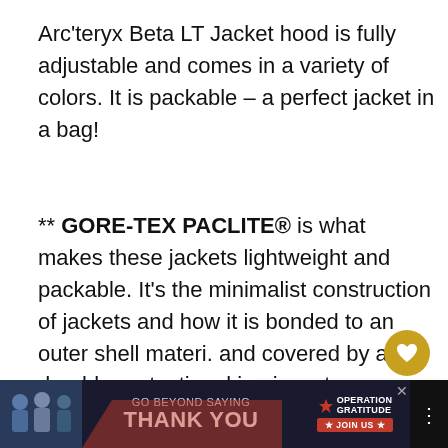Arc'teryx Beta LT Jacket hood is fully adjustable and comes in a variety of colors. It is packable – a perfect jacket in a bag!
** GORE-TEX PACLITE® is what makes these jackets lightweight and packable. It's the minimalist construction of jackets and how it is bonded to an outer shell material and covered by a durable protective making in water-resistant or waterproof depending on the fabric (more of this b...
[Figure (other): Website UI overlay elements: heart (favorite) button, share button, and 'What's Next' widget showing '10 Best Travel Handbags fo...' with a thumbnail image]
[Figure (other): Bottom advertisement banner: 'GO BEYOND SAYING THANK YOU' with Operation Gratitude logo and JOIN US button, dark background with red stripe]